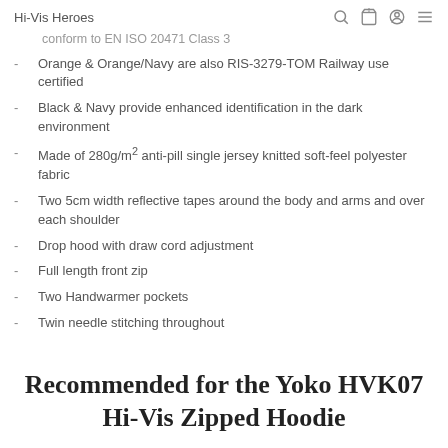Hi-Vis Heroes
conform to EN ISO 20471 Class 3
Orange & Orange/Navy are also RIS-3279-TOM Railway use certified
Black & Navy provide enhanced identification in the dark environment
Made of 280g/m² anti-pill single jersey knitted soft-feel polyester fabric
Two 5cm width reflective tapes around the body and arms and over each shoulder
Drop hood with draw cord adjustment
Full length front zip
Two Handwarmer pockets
Twin needle stitching throughout
Recommended for the Yoko HVK07 Hi-Vis Zipped Hoodie